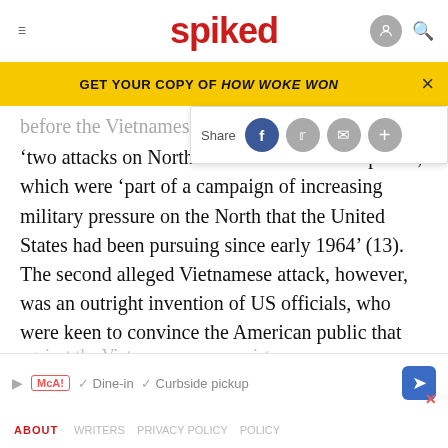spiked
GET YOUR COPY OF HOW WOKE WON
before the Vietnamese attacked
'two attacks on North Vietnam…had taken place', which were 'part of a campaign of increasing military pressure on the North that the United States had been pursuing since early 1964' (13). The second alleged Vietnamese attack, however, was an outright invention of US officials, who were keen to convince the American public that US forces should take action against the Vietnamese communists.
ABOUT